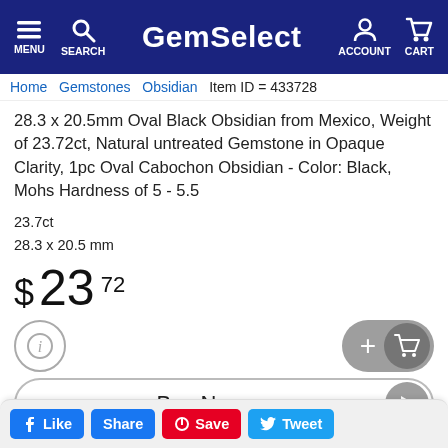GemSelect — MENU SEARCH ACCOUNT CART
Home Gemstones Obsidian Item ID = 433728
28.3 x 20.5mm Oval Black Obsidian from Mexico, Weight of 23.72ct, Natural untreated Gemstone in Opaque Clarity, 1pc Oval Cabochon Obsidian - Color: Black, Mohs Hardness of 5 - 5.5
23.7ct
28.3 x 20.5 mm
$ 23 72
[Figure (infographic): Info button (circle with i) and Add to Cart button (plus icon with cart icon)]
[Figure (infographic): Buy Now button with play arrow]
Like  Share  Save  Tweet